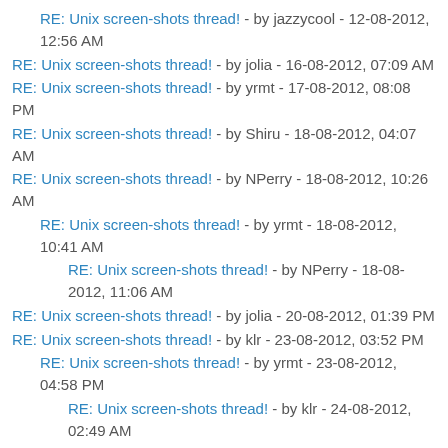RE: Unix screen-shots thread! - by jazzycool - 12-08-2012, 12:56 AM
RE: Unix screen-shots thread! - by jolia - 16-08-2012, 07:09 AM
RE: Unix screen-shots thread! - by yrmt - 17-08-2012, 08:08 PM
RE: Unix screen-shots thread! - by Shiru - 18-08-2012, 04:07 AM
RE: Unix screen-shots thread! - by NPerry - 18-08-2012, 10:26 AM
RE: Unix screen-shots thread! - by yrmt - 18-08-2012, 10:41 AM
RE: Unix screen-shots thread! - by NPerry - 18-08-2012, 11:06 AM
RE: Unix screen-shots thread! - by jolia - 20-08-2012, 01:39 PM
RE: Unix screen-shots thread! - by klr - 23-08-2012, 03:52 PM
RE: Unix screen-shots thread! - by yrmt - 23-08-2012, 04:58 PM
RE: Unix screen-shots thread! - by klr - 24-08-2012, 02:49 AM
RE: Unix screen-shots thread! - by yrmt - 24-08-2012, 07:07 AM